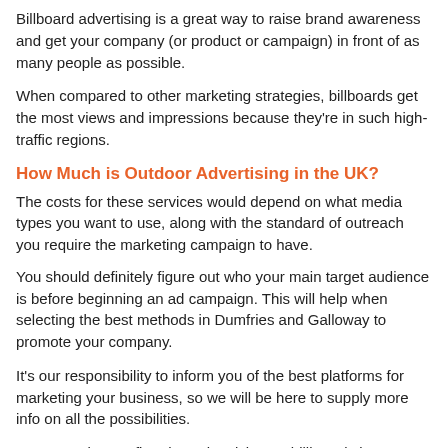Billboard advertising is a great way to raise brand awareness and get your company (or product or campaign) in front of as many people as possible.
When compared to other marketing strategies, billboards get the most views and impressions because they're in such high-traffic regions.
How Much is Outdoor Advertising in the UK?
The costs for these services would depend on what media types you want to use, along with the standard of outreach you require the marketing campaign to have.
You should definitely figure out who your main target audience is before beginning an ad campaign. This will help when selecting the best methods in Dumfries and Galloway to promote your company.
It's our responsibility to inform you of the best platforms for marketing your business, so we will be here to supply more info on all the possibilities.
We must also confirm that advertising on billboards is...